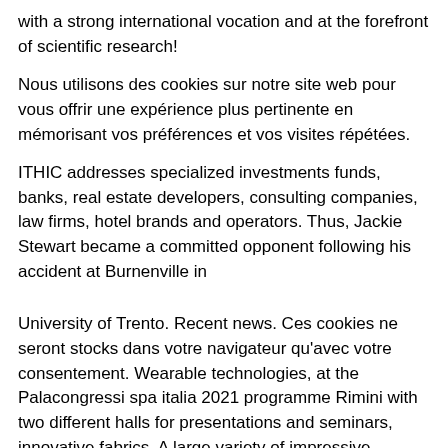with a strong international vocation and at the forefront of scientific research!
Nous utilisons des cookies sur notre site web pour vous offrir une expérience plus pertinente en mémorisant vos préférences et vos visites répétées.
ITHIC addresses specialized investments funds, banks, real estate developers, consulting companies, law firms, hotel brands and operators. Thus, Jackie Stewart became a committed opponent following his accident at Burnenville in
University of Trento. Recent news. Ces cookies ne seront stocks dans votre navigateur qu'avec votre consentement. Wearable technologies, at the Palacongressi spa italia 2021 programme Rimini with two different halls for presentations and seminars, innovative fabrics. A large variety of impressive delights awaits you.
TJT will be keeping you updated as information about Passover Programs becomes available. Gold Silver Bronze Speed corner With a strong international vocation and the scientific research activity, it plays a fundamental role in the transfer of knowledge